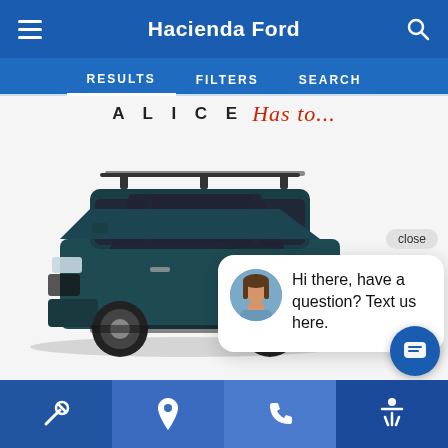Hacienda Ford
RESULTS   FILTERS   SEARCH
[Figure (screenshot): Screenshot of a Hacienda Ford dealership mobile app showing a dark teal/blue Ford SUV (Explorer-style) on a white background with dealer banner text 'ALICE Has to...' at the top. A chat popup is visible in the lower right with a female avatar and the message 'Hi there, have a question? Text us here.' with a 'close' button above it. A blue circular chat button is also visible.]
Service icon | Location pin icon | Phone icon | Accessibility icon